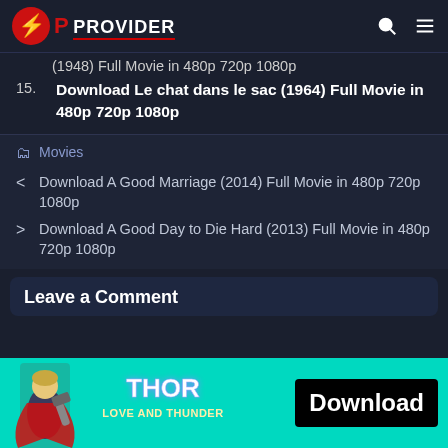OP PROVIDER
(1948) Full Movie in 480p 720p 1080p
15. Download Le chat dans le sac (1964) Full Movie in 480p 720p 1080p
Movies
< Download A Good Marriage (2014) Full Movie in 480p 720p 1080p
> Download A Good Day to Die Hard (2013) Full Movie in 480p 720p 1080p
Leave a Comment
[Figure (illustration): Thor Love and Thunder advertisement banner with Thor character illustration, logo, and Download button]